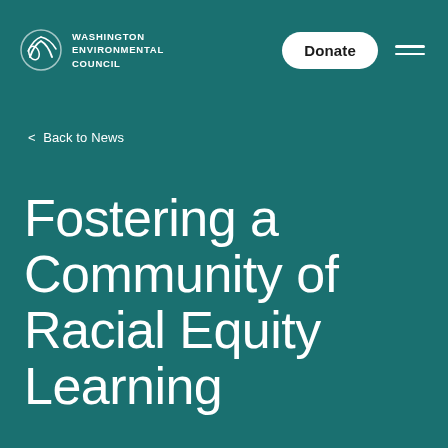Washington Environmental Council
< Back to News
Fostering a Community of Racial Equity Learning